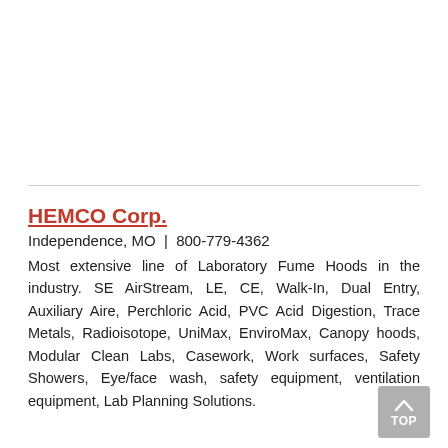HEMCO Corp.
Independence, MO  |  800-779-4362
Most extensive line of Laboratory Fume Hoods in the industry. SE AirStream, LE, CE, Walk-In, Dual Entry, Auxiliary Aire, Perchloric Acid, PVC Acid Digestion, Trace Metals, Radioisotope, UniMax, EnviroMax, Canopy hoods, Modular Clean Labs, Casework, Work surfaces, Safety Showers, Eye/face wash, safety equipment, ventilation equipment, Lab Planning Solutions.